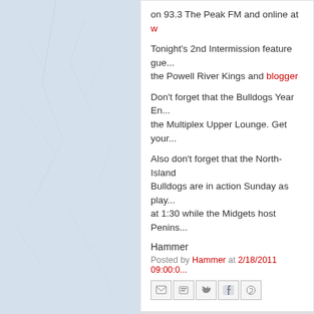[Figure (illustration): Ice rink surface background with crack patterns, light blue-gray gradient]
on 93.3 The Peak FM and online at w...
Tonight's 2nd Intermission feature gue... the Powell River Kings and blogger
Don't forget that the Bulldogs Year En... the Multiplex Upper Lounge. Get your...
Also don't forget that the North-Island Bulldogs are in action Sunday as play... at 1:30 while the Midgets host Penins...
Hammer
Posted by Hammer at 2/18/2011 09:00:00...
[Figure (infographic): Social share icon buttons: Email, BlogThis, Twitter, Facebook, Pinterest]
THURSDAY, FEBRUARY 17, 2011
Hump Closed...
[Figure (photo): Partially visible photo at bottom of page]